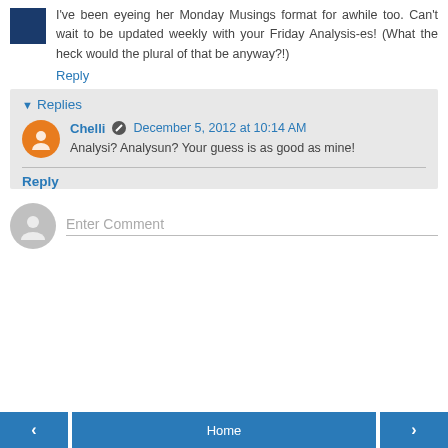I've been eyeing her Monday Musings format for awhile too. Can't wait to be updated weekly with your Friday Analysis-es! (What the heck would the plural of that be anyway?!)
Reply
Replies
Chelli  December 5, 2012 at 10:14 AM
Analysi? Analysun? Your guess is as good as mine!
Reply
Enter Comment
< Home >